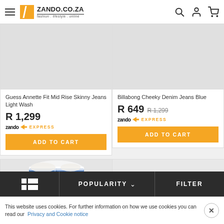ZANDO.CO.ZA — fashion . lifestyle . online
[Figure (photo): Product image for Guess Annette Fit Mid Rise Skinny Jeans Light Wash (grey placeholder)]
Guess Annette Fit Mid Rise Skinny Jeans Light Wash
R 1,299
zando EXPRESS
ADD TO CART
[Figure (photo): Product image for Billabong Cheeky Denim Jeans Blue (grey placeholder)]
Billabong Cheeky Denim Jeans Blue
R 649  R 1,299
zando EXPRESS
ADD TO CART
[Figure (photo): Partial product image showing model wearing blue denim jeans]
[Figure (photo): Partial product image (grey placeholder, second row right)]
POPULARITY  ∨
FILTER
This website uses cookies. For further information on how we use cookies you can read our Privacy and Cookie notice